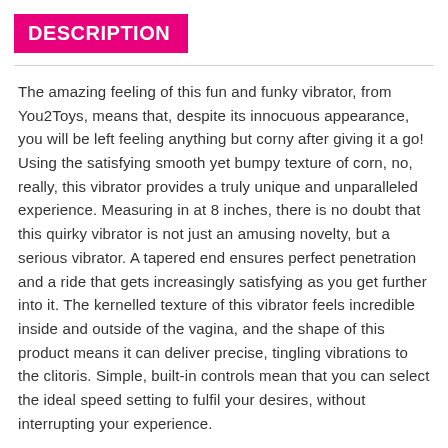DESCRIPTION
The amazing feeling of this fun and funky vibrator, from You2Toys, means that, despite its innocuous appearance, you will be left feeling anything but corny after giving it a go! Using the satisfying smooth yet bumpy texture of corn, no, really, this vibrator provides a truly unique and unparalleled experience. Measuring in at 8 inches, there is no doubt that this quirky vibrator is not just an amusing novelty, but a serious vibrator. A tapered end ensures perfect penetration and a ride that gets increasingly satisfying as you get further into it. The kernelled texture of this vibrator feels incredible inside and outside of the vagina, and the shape of this product means it can deliver precise, tingling vibrations to the clitoris. Simple, built-in controls mean that you can select the ideal speed setting to fulfil your desires, without interrupting your experience.